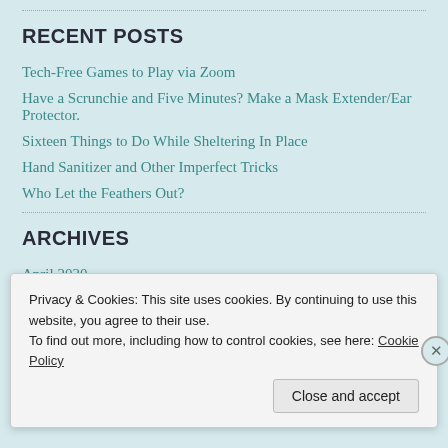RECENT POSTS
Tech-Free Games to Play via Zoom
Have a Scrunchie and Five Minutes? Make a Mask Extender/Ear Protector.
Sixteen Things to Do While Sheltering In Place
Hand Sanitizer and Other Imperfect Tricks
Who Let the Feathers Out?
ARCHIVES
April 2020
March 2020
Privacy & Cookies: This site uses cookies. By continuing to use this website, you agree to their use. To find out more, including how to control cookies, see here: Cookie Policy
Close and accept